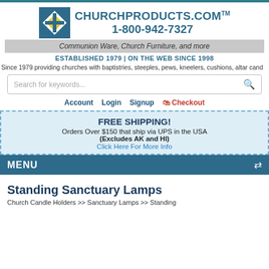[Figure (logo): ChurchProducts.com logo with blue square icon containing a diamond cross symbol]
CHURCHPRODUCTS.COM™ 1-800-942-7327
Communion Ware, Church Furniture, and more
ESTABLISHED 1979 | ON THE WEB SINCE 1998
Since 1979 providing churches with baptistries, steeples, pews, kneelers, cushions, altar cand
Search for keywords...
Account  Login  Signup  Checkout
FREE SHIPPING! Orders Over $150 that ship via UPS in the USA (Excludes AK and HI) Click Here For More Info
MENU
Standing Sanctuary Lamps
Church Candle Holders >> Sanctuary Lamps >> Standing